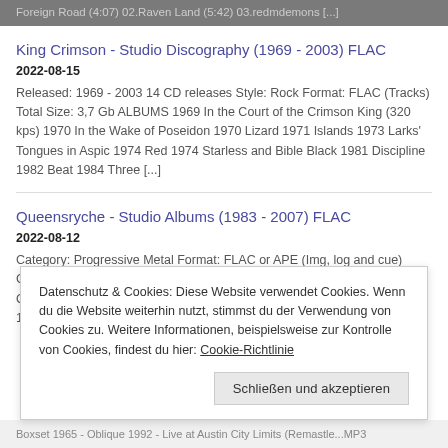Foreign Road (4:07) 02.Raven Land (5:42) 03.redmdemons [...]
King Crimson - Studio Discography (1969 - 2003) FLAC
2022-08-15
Released: 1969 - 2003 14 CD releases Style: Rock Format: FLAC (Tracks) Total Size: 3,7 Gb ALBUMS 1969 In the Court of the Crimson King (320 kps) 1970 In the Wake of Poseidon 1970 Lizard 1971 Islands 1973 Larks' Tongues in Aspic 1974 Red 1974 Starless and Bible Black 1981 Discipline 1982 Beat 1984 Three [...]
Queensryche - Studio Albums (1983 - 2007) FLAC
2022-08-12
Category: Progressive Metal Format: FLAC or APE (Img, log and cue) Covers incl. SINGLELINKS each every ALBUM ALBUMS 1983 - Queensryche (2003 Remastered) 1984 - The Warning (2003 Remastered) 1986 - Rage For Order
Datenschutz & Cookies: Diese Website verwendet Cookies. Wenn du die Website weiterhin nutzt, stimmst du der Verwendung von Cookies zu. Weitere Informationen, beispielsweise zur Kontrolle von Cookies, findest du hier: Cookie-Richtlinie
Schließen und akzeptieren
Boxset 1965 - Oblique 1992 - Live at Austin City Limits (Remastle...MP3